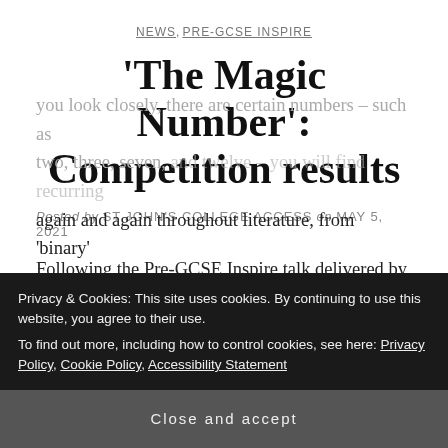NEWS, PRE-GCSE INSPIRE
‘The Magic Number’: Competition results
Posted by ST JOHN’S COLLEGE ACCESS on MAY 5, 2021
Following the Pre-GCSE Inspire talk delivered by Sammy Wright on ‘Why poems are like spells’, we’re delighted to announce the winners of the ‘Magic Number’ competition.
Privacy & Cookies: This site uses cookies. By continuing to use this website, you agree to their use.
To find out more, including how to control cookies, see here: Privacy Policy, Cookie Policy, Accessibility Statement
Close and accept
you look closely, there are certain numbers – such as two, three, seven, and twelve – you will find recurring again and again throughout literature, from ‘binary’